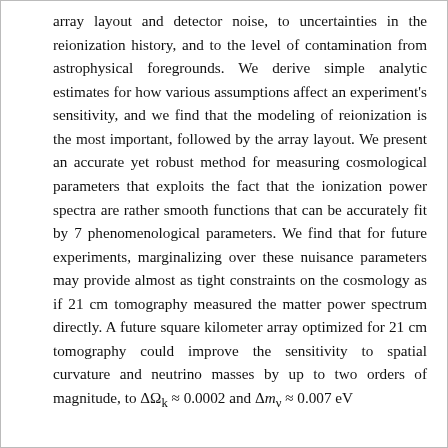array layout and detector noise, to uncertainties in the reionization history, and to the level of contamination from astrophysical foregrounds. We derive simple analytic estimates for how various assumptions affect an experiment's sensitivity, and we find that the modeling of reionization is the most important, followed by the array layout. We present an accurate yet robust method for measuring cosmological parameters that exploits the fact that the ionization power spectra are rather smooth functions that can be accurately fit by 7 phenomenological parameters. We find that for future experiments, marginalizing over these nuisance parameters may provide almost as tight constraints on the cosmology as if 21 cm tomography measured the matter power spectrum directly. A future square kilometer array optimized for 21 cm tomography could improve the sensitivity to spatial curvature and neutrino masses by up to two orders of magnitude, to ΔΩ_k ≈ 0.0002 and Δm_ν ≈ 0.007 eV.